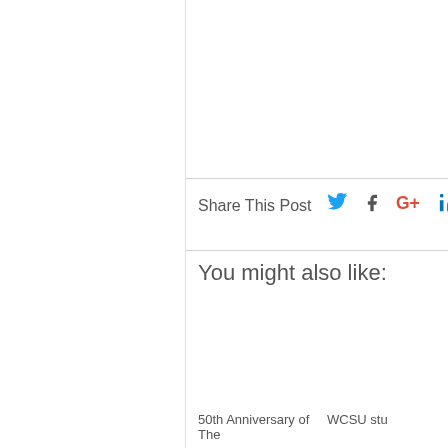Share This Post
You might also like:
50th Anniversary of The
WCSU stu